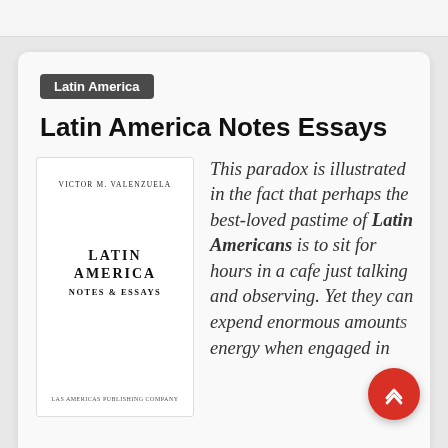Latin America
Latin America Notes Essays
[Figure (illustration): Book cover of 'Latin America Notes & Essays' by Victor M. Valenzuela, published by Las Americas Publishing Company]
This paradox is illustrated in the fact that perhaps the best-loved pastime of Latin Americans is to sit for hours in a cafe just talking and observing. Yet they can expend enormous amounts of energy when engaged in